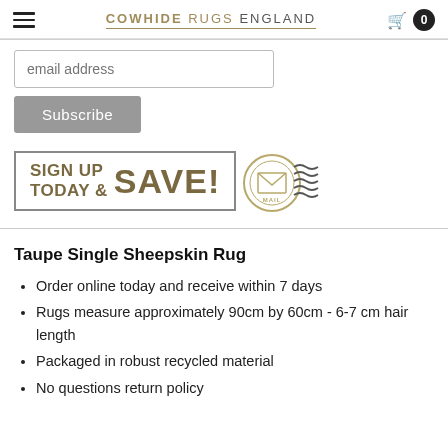COWHIDE RUGS ENGLAND
[Figure (screenshot): Email subscription form with email address input field and Subscribe button]
[Figure (infographic): Sign Up Today & Save! banner with mail stamp graphic]
Taupe Single Sheepskin Rug
Order online today and receive within 7 days
Rugs measure approximately 90cm by 60cm - 6-7 cm hair length
Packaged in robust recycled material
No questions return policy